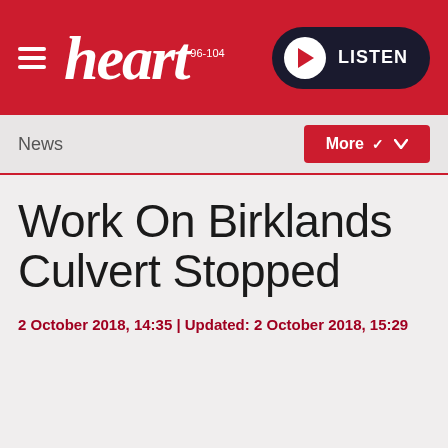[Figure (logo): Heart FM radio logo with hamburger menu icon on red background, with LISTEN button on right]
News
Work On Birklands Culvert Stopped
2 October 2018, 14:35 | Updated: 2 October 2018, 15:29